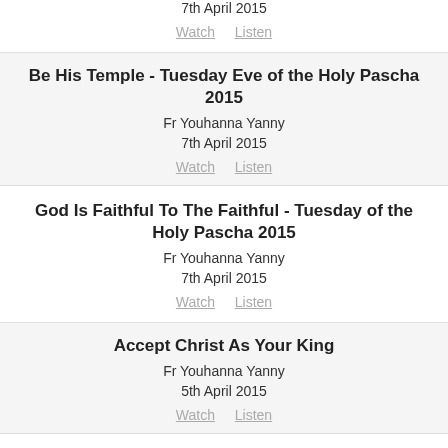7th April 2015
Watch  Listen
Be His Temple - Tuesday Eve of the Holy Pascha 2015
Fr Youhanna Yanny
7th April 2015
Watch  Listen
God Is Faithful To The Faithful - Tuesday of the Holy Pascha 2015
Fr Youhanna Yanny
7th April 2015
Watch  Listen
Accept Christ As Your King
Fr Youhanna Yanny
5th April 2015
Watch  Listen
Meet The Light And Shine ŸÇŸßŸ®ŸÑ ŸßŸÑŸÜŸàŸ± Ÿ° ŸàŸ™Ÿ£ŸÑŸÇ